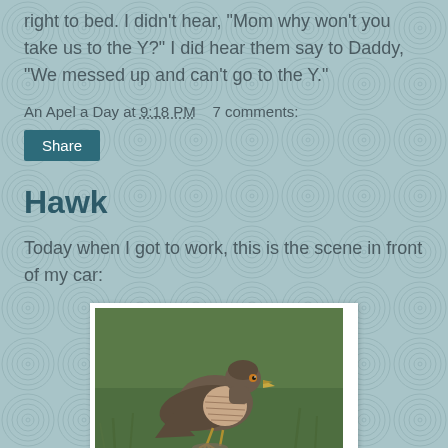right to bed. I didn't hear, "Mom why won't you take us to the Y?" I did hear them say to Daddy, "We messed up and can't go to the Y."
An Apel a Day at 9:18 PM   7 comments:
Share
Hawk
Today when I got to work, this is the scene in front of my car:
[Figure (photo): A hawk standing on grass, viewed from the side, with brown and grey plumage and a sharp beak.]